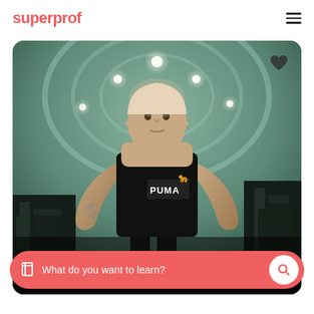superprof
[Figure (photo): A muscular middle-aged man wearing a black Puma tank top standing in a gym with gym equipment visible in the background and circular ceiling lights above. He has tattoos on his right arm and a serious expression.]
Birmingham & webcam